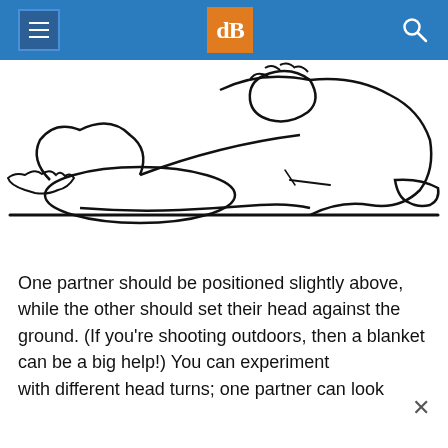dPS
[Figure (illustration): Line drawing sketch showing two people lying down in close proximity, with one person positioned slightly above the other, hands visible near a surface suggesting ground-level photography positioning.]
One partner should be positioned slightly above, while the other should set their head against the ground. (If you're shooting outdoors, then a blanket can be a big help!) You can experiment with different head turns; one partner can look